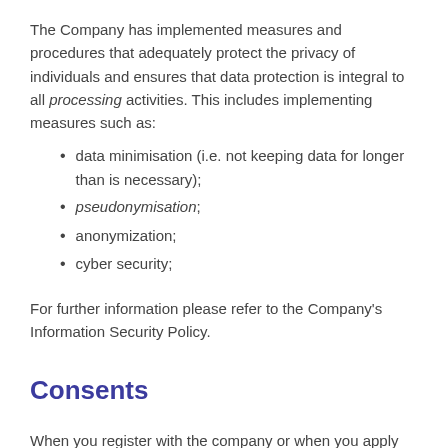The Company has implemented measures and procedures that adequately protect the privacy of individuals and ensures that data protection is integral to all processing activities. This includes implementing measures such as:
data minimisation (i.e. not keeping data for longer than is necessary);
pseudonymisation;
anonymization;
cyber security;
For further information please refer to the Company's Information Security Policy.
Consents
When you register with the company or when you apply for a job through our website (or a third party website) you ask us to provide you with work finding services an/or